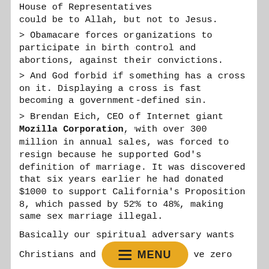House of Representatives could be to Allah, but not to Jesus.
> Obamacare forces organizations to participate in birth control and abortions, against their convictions.
> And God forbid if something has a cross on it. Displaying a cross is fast becoming a government-defined sin.
> Brendan Eich, CEO of Internet giant Mozilla Corporation, with over 300 million in annual sales, was forced to resign because he supported God's definition of marriage. It was discovered that six years earlier he had donated $1000 to support California's Proposition 8, which passed by 52% to 48%, making same sex marriage illegal.
Basically our spiritual adversary wants Christians and [MENU overlay] ve zero influence so he [MENU overlay] ions actively removing any vestiges of pure Christianity